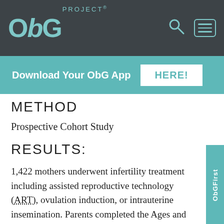OBG PROJECT® [search icon] [menu icon]
Download Your ObG App HERE!
METHOD
Prospective Cohort Study
RESULTS:
1,422 mothers underwent infertility treatment including assisted reproductive technology (ART), ovulation induction, or intrauterine insemination. Parents completed the Ages and Stages Questionnaires at 4, 8, 12, 18, 24, 30, and 36 months of age in order to test their